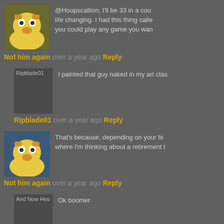[Figure (screenshot): Comment thread screenshot with user avatars and text comments on a dark gray background]
@Hoopscallion, I'll be 33 in a cou life changing. I had this thing calle you could play any game you wan
Not him again over a year ago Reply
[Figure (photo): Ripblade01 avatar placeholder]
I painted that guy naked in my art clas
Ripblade01 over a year ago Reply
[Figure (photo): Not him again avatar - Homer Simpson style image]
That's because, depending on your bi where I'm thinking about a retirement t
Not him again over a year ago Reply
[Figure (photo): And Now Hes Dead avatar placeholder]
Ok boomer
And Now Hes Dead over a year ago Reply
[Figure (photo): Petersquatch avatar placeholder]
I made the '99 cutoff by 18 days